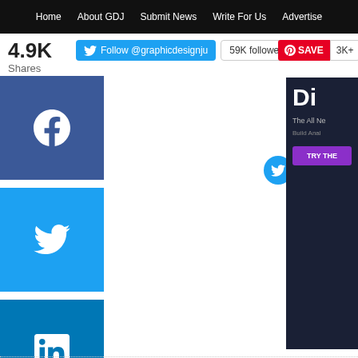Home  About GDJ  Submit News  Write For Us  Advertise
4.9K Shares
[Figure (screenshot): Twitter Follow @graphicdesignju button with 59K followers badge]
[Figure (screenshot): Pinterest SAVE button with 3K+ count]
[Figure (screenshot): Social icons row: Twitter, Facebook, Instagram, RSS]
[Figure (screenshot): Facebook share button (blue square with F icon)]
[Figure (screenshot): Twitter share button (light blue square with bird icon)]
[Figure (screenshot): LinkedIn share button (dark blue square with in icon)]
[Figure (screenshot): Pinterest share button (red square with P icon)]
[Figure (screenshot): Advertisement banner: Di / The All Ne / Build Anal / TRY THE]
[Figure (logo): GDJ logo in red box]
Author: Muhammad Faisal
I'm Muhammad Faisal founder of GDJ and co-founder of FPD. I with WordPress, PHP, HTML5, CSS, or jQuery. And really enjoy design and typography. You can catch me on Twitter, Faceboo